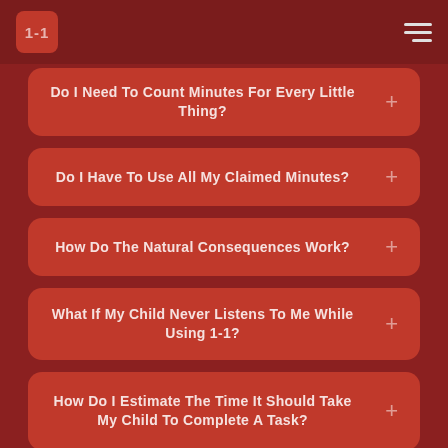1-1 logo and navigation hamburger menu
Do I Need To Count Minutes For Every Little Thing?
Do I Have To Use All My Claimed Minutes?
How Do The Natural Consequences Work?
What If My Child Never Listens To Me While Using 1-1?
How Do I Estimate The Time It Should Take My Child To Complete A Task?